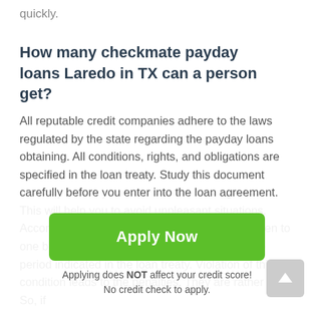quickly.
How many checkmate payday loans Laredo in TX can a person get?
All reputable credit companies adhere to the laws regulated by the state regarding the payday loans obtaining. All conditions, rights, and obligations are specified in the loan treaty. Study this document carefully before you enter into the loan agreement. This will help you to avoid unpleasant situations. According to the state laws, one loan can be given to one borrower. A loan must be covered within the period indicated in the loan treaty. Violation of this condition leads to the penalties. They are rather high. So, if
[Figure (other): Green Apply Now button with text 'Apply Now']
Applying does NOT affect your credit score!
No credit check to apply.